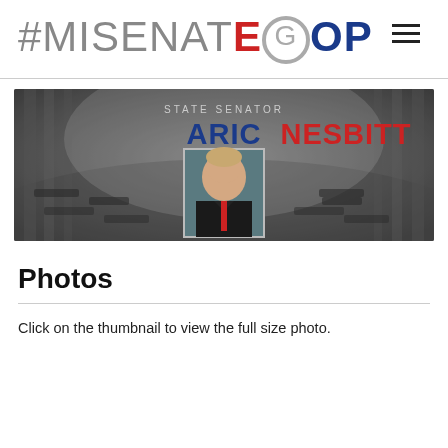#MISENATEGOP
[Figure (screenshot): Banner image of State Senator Aric Nesbitt with a grayscale Michigan Senate chamber background. Text reads 'STATE SENATOR' above 'ARIC NESBITT' in blue and red. A portrait photo of the senator is centered in the banner.]
Photos
Click on the thumbnail to view the full size photo.